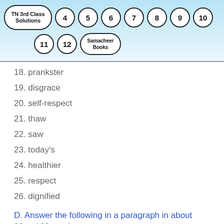[Figure (other): Navigation header with circles containing TN 3rd Class Solutions, numbers 4-12, and Samacheer Books]
18. prankster
19. disgrace
20. self-respect
21. thaw
22. saw
23. today's
24. healthier
25. respect
26. dignified
D. Answer the following in a paragraph in about 80 to 100 words.